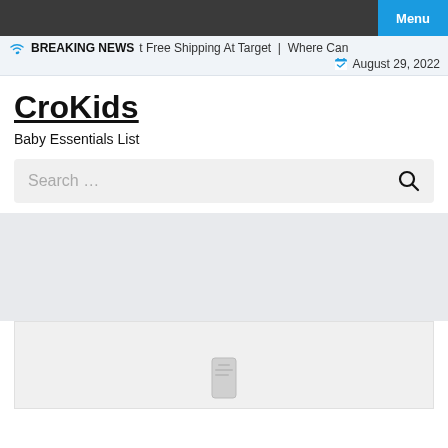Menu
BREAKING NEWS  t Free Shipping At Target  |  Where Can  August 29, 2022
CroKids
Baby Essentials List
Search …
[Figure (other): Gray placeholder area and white card with icon at bottom of page]